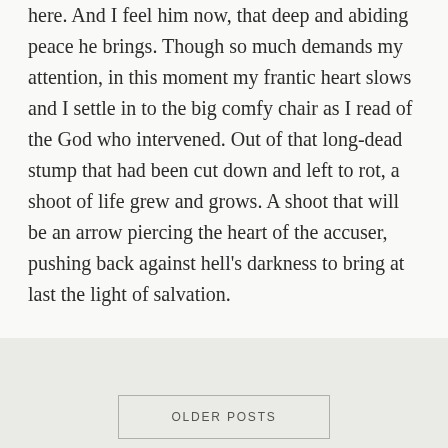here. And I feel him now, that deep and abiding peace he brings. Though so much demands my attention, in this moment my frantic heart slows and I settle in to the big comfy chair as I read of the God who intervened. Out of that long-dead stump that had been cut down and left to rot, a shoot of life grew and grows. A shoot that will be an arrow piercing the heart of the accuser, pushing back against hell's darkness to bring at last the light of salvation.
OLDER POSTS